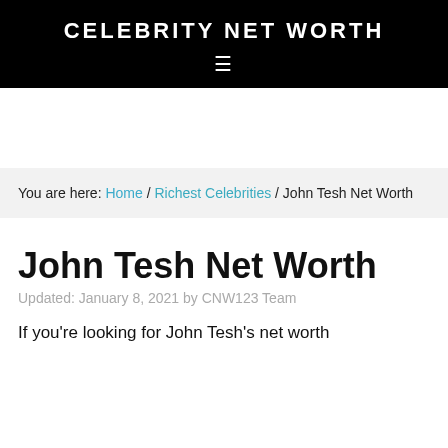CELEBRITY NET WORTH
You are here: Home / Richest Celebrities / John Tesh Net Worth
John Tesh Net Worth
Updated: January 8, 2021 by CNW123 Team
If you're looking for John Tesh's net worth